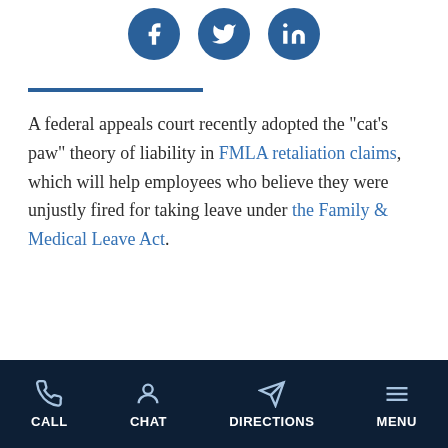[Figure (other): Social media icons: Facebook, Twitter, LinkedIn — circular blue buttons with white icons]
A federal appeals court recently adopted the “cat’s paw” theory of liability in FMLA retaliation claims, which will help employees who believe they were unjustly fired for taking leave under the Family & Medical Leave Act.
CALL   CHAT   DIRECTIONS   MENU